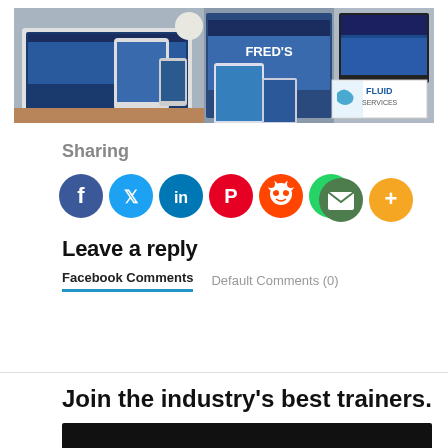[Figure (screenshot): Composite banner image showing various devices (laptop, tablet, phone, monitor) displaying website screenshots for Fluid Services, with the Fluid Services logo visible in the bottom right of the banner.]
Sharing
[Figure (infographic): Row of social media sharing buttons: Facebook (dark blue), Twitter (light blue), LinkedIn (dark teal), Pinterest (red), Reddit (orange-red), WhatsApp (green), Email (dark green), More/Plus (orange)]
Leave a reply
Facebook Comments   Default Comments (0)
Join the industry's best trainers.
[Figure (screenshot): Dark video thumbnail bar at the bottom of the page]